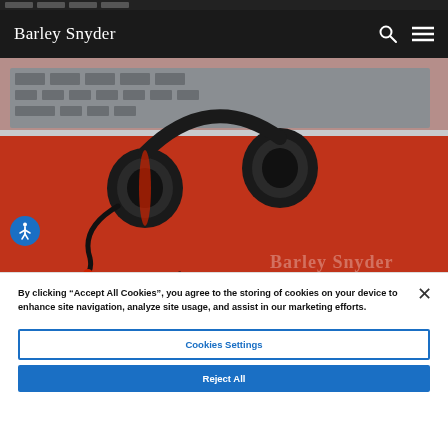Barley Snyder
[Figure (photo): Photo of black and red headset/headphones with microphone resting on a red book or folder, with a laptop keyboard visible in the background. Barley Snyder watermark text visible at bottom right.]
By clicking “Accept All Cookies”, you agree to the storing of cookies on your device to enhance site navigation, analyze site usage, and assist in our marketing efforts.
Cookies Settings
Reject All